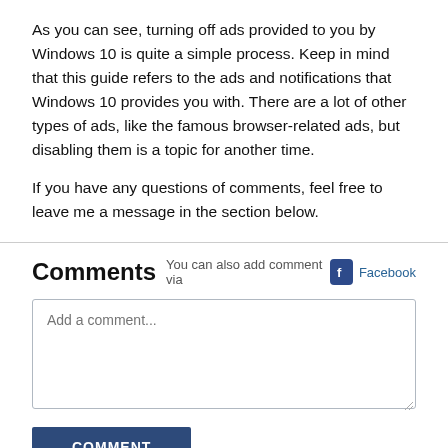As you can see, turning off ads provided to you by Windows 10 is quite a simple process. Keep in mind that this guide refers to the ads and notifications that Windows 10 provides you with. There are a lot of other types of ads, like the famous browser-related ads, but disabling them is a topic for another time.
If you have any questions of comments, feel free to leave me a message in the section below.
Comments
You can also add comment via Facebook
Add a comment...
COMMENT